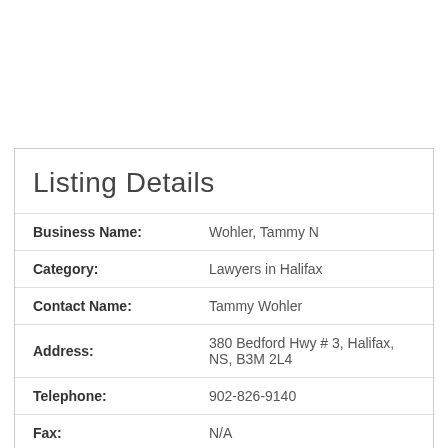Listing Details
| Field | Value |
| --- | --- |
| Business Name: | Wohler, Tammy N |
| Category: | Lawyers in Halifax |
| Contact Name: | Tammy Wohler |
| Address: | 380 Bedford Hwy # 3, Halifax, NS, B3M 2L4 |
| Telephone: | 902-826-9140 |
| Fax: | N/A |